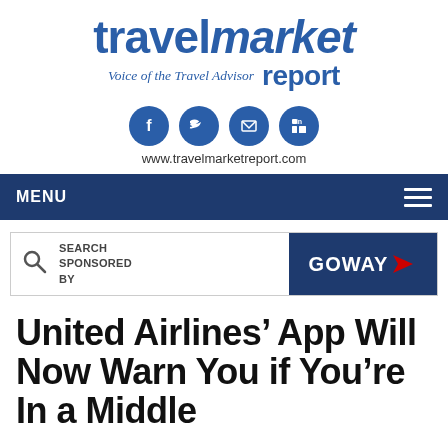[Figure (logo): Travel Market Report logo with tagline 'Voice of the Travel Advisor']
[Figure (infographic): Four social media icons: Facebook, Twitter, Email, LinkedIn — blue circles with white icons]
www.travelmarketreport.com
MENU
[Figure (infographic): Search box with magnifying glass icon and text 'SEARCH SPONSORED BY', alongside GOWAY advertisement banner]
United Airlines' App Will Now Warn You if You're In a Middle